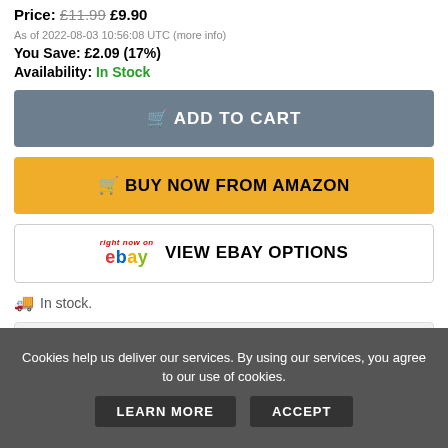Price: £11.99 £9.90
As of 2022-08-03 10:56:08 UTC (more info)
You Save: £2.09 (17%)
Availability: In Stock
ADD TO CART
BUY NOW FROM AMAZON
right now on ebay VIEW EBAY OPTIONS
In stock.
PRODUCT INFORMATION (more info)
See All Customer Reviews
View Product Details
Cookies help us deliver our services. By using our services, you agree to our use of cookies.
LEARN MORE
ACCEPT